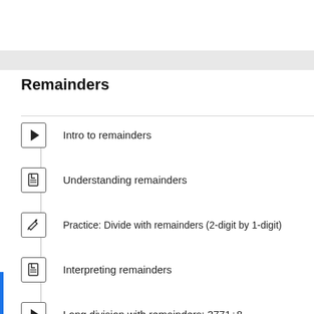Remainders
Intro to remainders
Understanding remainders
Practice: Divide with remainders (2-digit by 1-digit)
Interpreting remainders
Long division with remainders: 3771÷8
Long division with remainders: 2292÷4